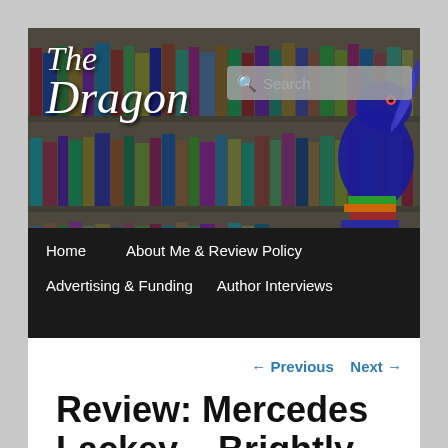[Figure (screenshot): Website header banner showing a bookshelf background with the site title 'The Dragon' in white italic script font, a search box overlay, a blue illustrated dragon character on the right side, and a dark navigation bar with links: Home, About Me & Review Policy, Advertising & Funding, Author Interviews]
Home   About Me & Review Policy   Advertising & Funding   Author Interviews
← Previous   Next →
Review: Mercedes Lackey – Brightly Burning